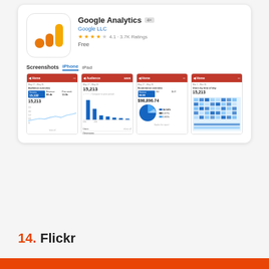[Figure (screenshot): Google Analytics app listing card showing app icon (orange bar chart logo), title 'Google Analytics', developer 'Google LLC', 4-star rating, 'Free' price, and four iPhone screenshots of the analytics dashboard]
14. Flickr